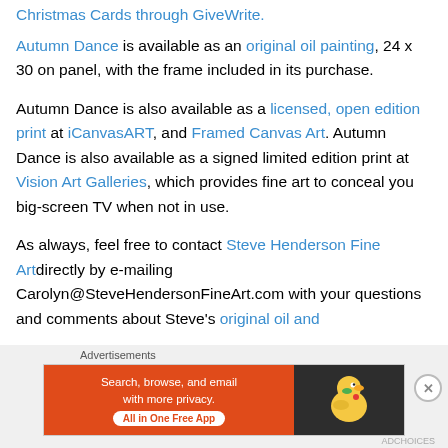Christmas Cards through GiveWrite.
Autumn Dance is available as an original oil painting, 24 x 30 on panel, with the frame included in its purchase.
Autumn Dance is also available as a licensed, open edition print at iCanvasART, and Framed Canvas Art. Autumn Dance is also available as a signed limited edition print at Vision Art Galleries, which provides fine art to conceal you big-screen TV when not in use.
As always, feel free to contact Steve Henderson Fine Art directly by e-mailing Carolyn@SteveHendersonFineArt.com with your questions and comments about Steve's original oil and
[Figure (other): DuckDuckGo advertisement banner with orange left side reading 'Search, browse, and email with more privacy. All in One Free App' and dark right side with DuckDuckGo duck logo.]